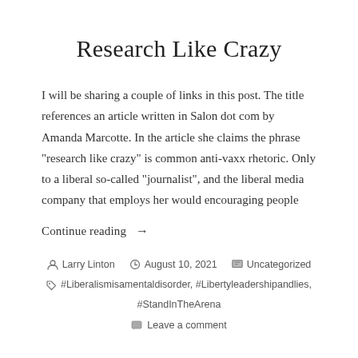Research Like Crazy
I will be sharing a couple of links in this post. The title references an article written in Salon dot com by Amanda Marcotte. In the article she claims the phrase “research like crazy” is common anti-vaxx rhetoric. Only to a liberal so-called “journalist”, and the liberal media company that employs her would encouraging people
Continue reading →
Larry Linton   August 10, 2021   Uncategorized   #Liberalismisamentaldisorder, #Libertyleadershipandlies, #StandInTheArena   Leave a comment